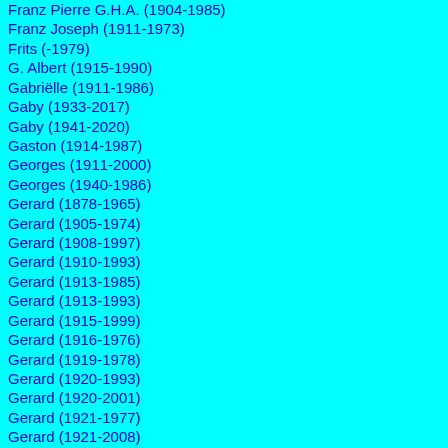Franz Pierre G.H.A. (1904-1985)
Franz Joseph (1911-1973)
Frits (-1979)
G. Albert (1915-1990)
Gabriëlle (1911-1986)
Gaby (1933-2017)
Gaby (1941-2020)
Gaston (1914-1987)
Georges (1911-2000)
Georges (1940-1986)
Gerard (1878-1965)
Gerard (1905-1974)
Gerard (1908-1997)
Gerard (1910-1993)
Gerard (1913-1985)
Gerard (1913-1993)
Gerard (1915-1999)
Gerard (1916-1976)
Gerard (1919-1978)
Gerard (1920-1993)
Gerard (1920-2001)
Gerard (1921-1977)
Gerard (1921-2008)
Gerard (1922-2017)
Gerard (1923-2010)
Gerard (1928-1974)
Gerard (1928-2016)
Gerard (1929-2019)